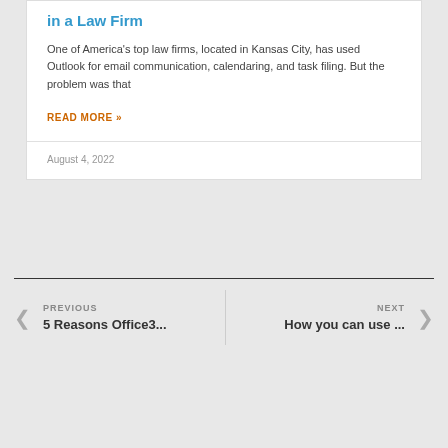in a Law Firm
One of America's top law firms, located in Kansas City, has used Outlook for email communication, calendaring, and task filing. But the problem was that
READ MORE »
August 4, 2022
PREVIOUS
5 Reasons Office3...
NEXT
How you can use ...